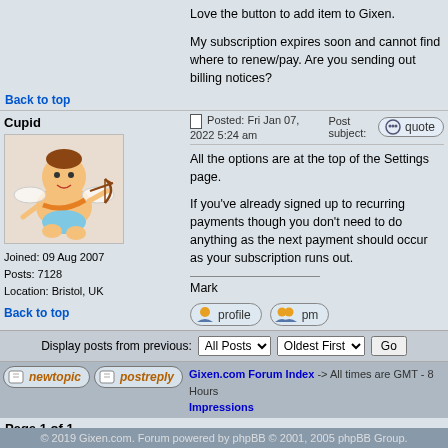Love the button to add item to Gixen.

My subscription expires soon and cannot find where to renew/pay. Are you sending out billing notices?
Back to top
Cupid
Posted: Fri Jan 07, 2022 5:24 am   Post subject:   quote
All the options are at the top of the Settings page.

If you've already signed up to recurring payments though you don't need to do anything as the next payment should occur as your subscription runs out.

Mark
Joined: 09 Aug 2007
Posts: 7128
Location: Bristol, UK
Back to top
Display posts from previous:  All Posts  Oldest First  Go
Gixen.com Forum Index -> All times are GMT - 8 Hours
Impressions
Page 1 of 1
Jump to:  Impressions  Go
You can post new topics in this forum
You can reply to topics in this forum
You cannot edit your posts in this forum
You cannot delete your posts in this forum
You cannot vote in polls in this forum
© 2019 Gixen.com. Forum powered by phpBB © 2001, 2005 phpBB Group.